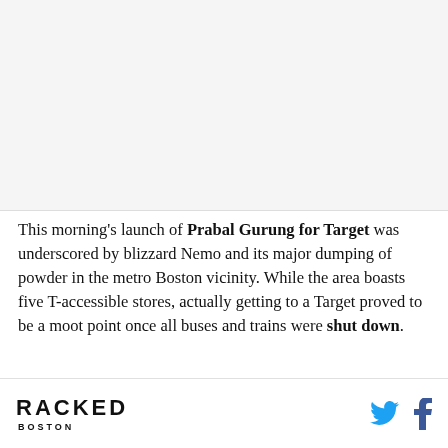[Figure (photo): Placeholder image area, light gray background]
This morning's launch of Prabal Gurung for Target was underscored by blizzard Nemo and its major dumping of powder in the metro Boston vicinity. While the area boasts five T-accessible stores, actually getting to a Target proved to be a moot point once all buses and trains were shut down.
RACKED BOSTON